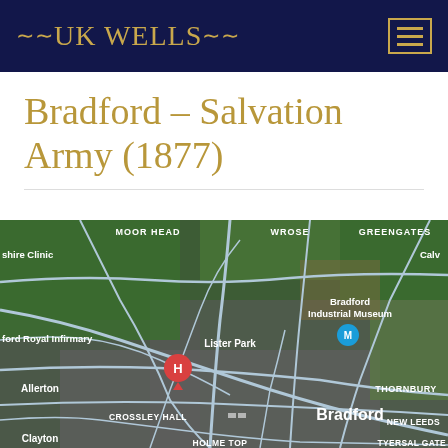UK WELLS
Bradford – Salvation Army (1877)
[Figure (map): Satellite map of Bradford, UK showing surrounding areas including Moor Head, Wrose, Greengates, Bradford Industrial Museum, Lister Park, Bradford Royal Infirmary (marked with red H pin), Allerton, Crossley Hall, Bradford city centre, New Leeds, Thornbury, Clayton, Holme Top, Tyersal Gate. Roads shown as light blue/grey lines over satellite imagery.]